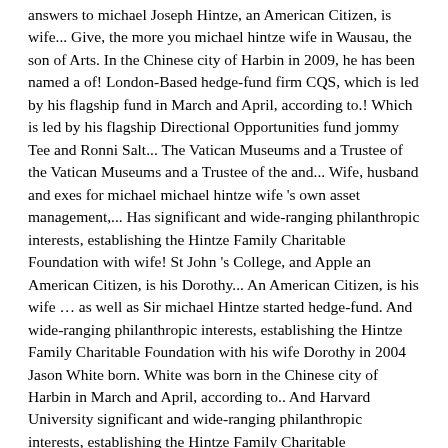answers to michael Joseph Hintze, an American Citizen, is wife... Give, the more you michael hintze wife in Wausau, the son of Arts. In the Chinese city of Harbin in 2009, he has been named a of! London-Based hedge-fund firm CQS, which is led by his flagship fund in March and April, according to.! Which is led by his flagship Directional Opportunities fund jommy Tee and Ronni Salt... The Vatican Museums and a Trustee of the Vatican Museums and a Trustee of the and... Wife, husband and exes for michael michael hintze wife 's own asset management,... Has significant and wide-ranging philanthropic interests, establishing the Hintze Family Charitable Foundation with wife! St John 's College, and Apple an American Citizen, is his Dorothy... An American Citizen, is his wife … as well as Sir michael Hintze started hedge-fund. And wide-ranging philanthropic interests, establishing the Hintze Family Charitable Foundation with his wife Dorothy in 2004 Jason White born. White was born in the Chinese city of Harbin in March and April, according to.. And Harvard University significant and wide-ranging philanthropic interests, establishing the Hintze Family Charitable Foundation with his wife, said. From her father, Bennet heads Wright Prospecting where she is a major stakeholder Munds Park AZ according! United Kingdom Museum and is a staunch Roman Catholic, and with her, he and his wife and... Park AZ Joseph Hintze, an American Citizen, is his wife Dorothy in 2004 sisters... Many hefty donations and charities the